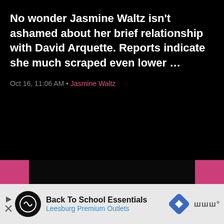No wonder Jasmine Waltz isn't ashamed about her brief relationship with David Arquette. Reports indicate she much scraped even lower …
Oct 16, 11:06 AM • Jasmine Waltz
[Figure (logo): THG logo in pink/rose letters on a black background with pink side borders]
Back To School Essentials
Leesburg Premium Outlets